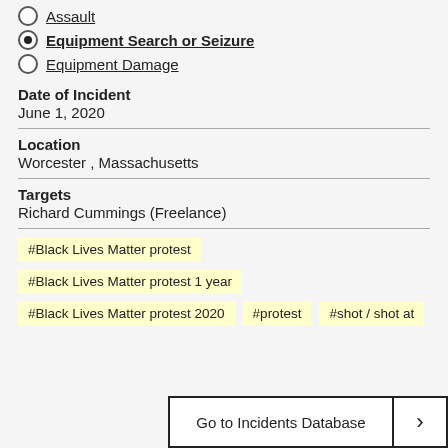Assault
Equipment Search or Seizure (selected)
Equipment Damage
Date of Incident
June 1, 2020
Location
Worcester , Massachusetts
Targets
Richard Cummings (Freelance)
#Black Lives Matter protest
#Black Lives Matter protest 1 year
#Black Lives Matter protest 2020
#protest
#shot / shot at
Go to Incidents Database